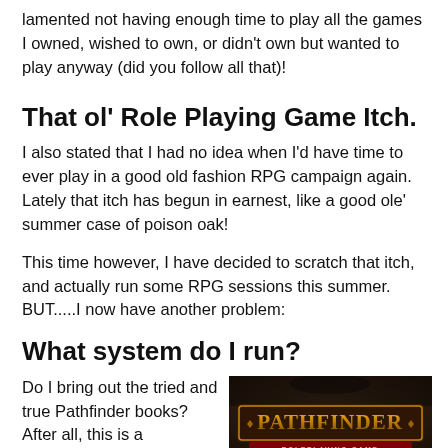lamented not having enough time to play all the games I owned, wished to own, or didn't own but wanted to play anyway (did you follow all that)!
That ol' Role Playing Game Itch.
I also stated that I had no idea when I'd have time to ever play in a good old fashion RPG campaign again. Lately that itch has begun in earnest, like a good ole' summer case of poison oak!
This time however, I have decided to scratch that itch, and actually run some RPG sessions this summer. BUT.....I now have another problem:
What system do I run?
Do I bring out the tried and true Pathfinder books? After all, this is a
[Figure (logo): Pathfinder Roleplaying Game logo on dark fantasy background]